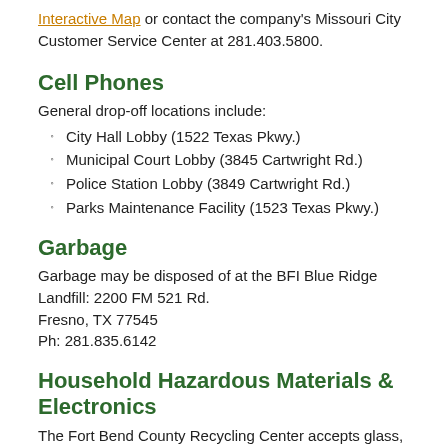Interactive Map or contact the company's Missouri City Customer Service Center at 281.403.5800.
Cell Phones
General drop-off locations include:
City Hall Lobby (1522 Texas Pkwy.)
Municipal Court Lobby (3845 Cartwright Rd.)
Police Station Lobby (3849 Cartwright Rd.)
Parks Maintenance Facility (1523 Texas Pkwy.)
Garbage
Garbage may be disposed of at the BFI Blue Ridge Landfill: 2200 FM 521 Rd.
Fresno, TX 77545
Ph: 281.835.6142
Household Hazardous Materials & Electronics
The Fort Bend County Recycling Center accepts glass, scrap metal, paper, plastics, Styrofoam, antifreeze, car/truck